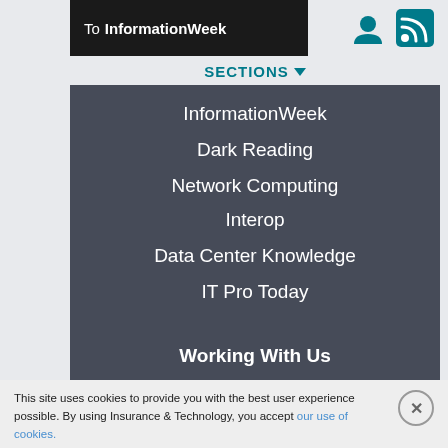To InformationWeek
SECTIONS
InformationWeek
Dark Reading
Network Computing
Interop
Data Center Knowledge
IT Pro Today
Working With Us
This site uses cookies to provide you with the best user experience possible. By using Insurance & Technology, you accept our use of cookies.